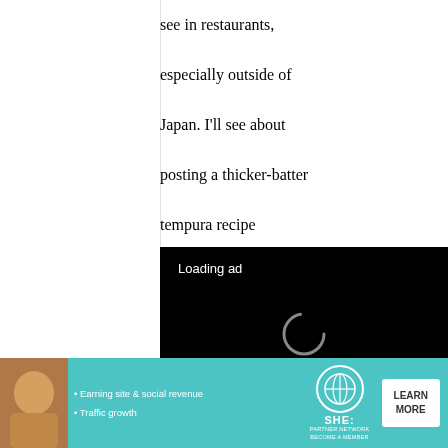see in restaurants, especially outside of Japan. I'll see about posting a thicker-batter tempura recipe soonish.
[Figure (screenshot): Video ad player with black background showing 'Loading ad' text, a spinning loading indicator, and video controls (pause, fullscreen, mute) at the bottom.]
in other words, adjusting the water-to-
[Figure (screenshot): Bottom banner advertisement for SHE Partner Network with a woman's photo, bullet points 'Earning site & social revenue' and 'Traffic growth', SHE logo with globe icon, and 'LEARN MORE' button.]